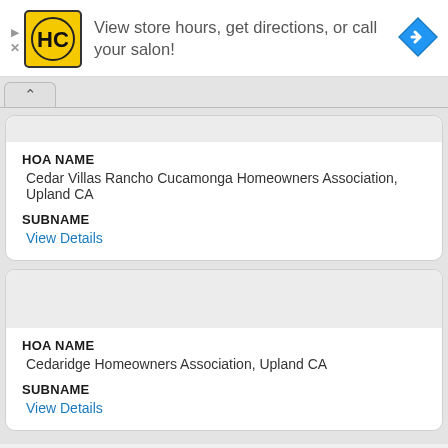[Figure (illustration): Advertisement banner for Hair Club (HC) salon with logo, text 'View store hours, get directions, or call your salon!', and a blue navigation arrow icon]
HOA NAME
Cedar Villas Rancho Cucamonga Homeowners Association, Upland CA
SUBNAME
View Details
HOA NAME
Cedaridge Homeowners Association, Upland CA
SUBNAME
View Details